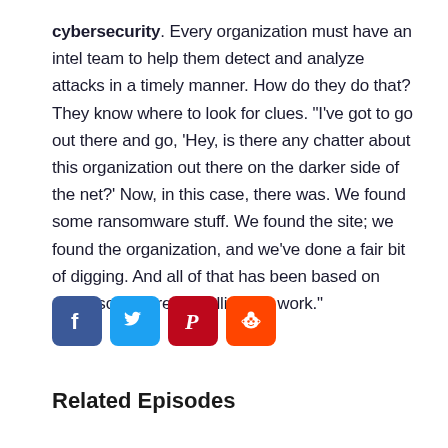cybersecurity. Every organization must have an intel team to help them detect and analyze attacks in a timely manner. How do they do that? They know where to look for clues. "I've got to go out there and go, 'Hey, is there any chatter about this organization out there on the darker side of the net?' Now, in this case, there was. We found some ransomware stuff. We found the site; we found the organization, and we've done a fair bit of digging. And all of that has been based on doing some threat intelligence work."
[Figure (other): Social media sharing icons: Facebook (blue), Twitter (light blue), Pinterest (red), Reddit (orange)]
Related Episodes